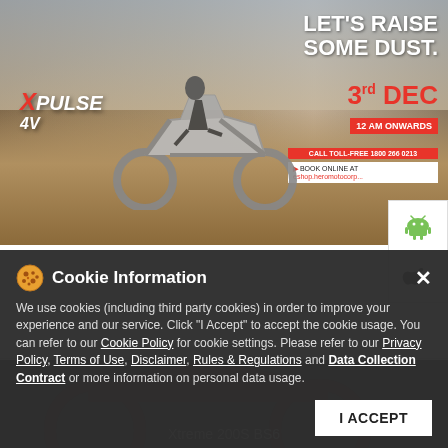[Figure (photo): Hero banner for Hero MotoCorp XPulse 4V motorcycle. Shows a motorcyclist riding off-road raising dust. Text overlay reads 'LET'S RAISE SOME DUST.' with date '3rd DEC 12 AM ONWARDS'. Toll-free number and book online information shown. XPulse 4V logo on left in red/white.]
Featured Product
[Figure (screenshot): Android and iOS app download buttons panel on right side]
[Figure (photo): Dark background with Hero Xtreme 200S BS6 motorcycle partially visible, with cookie consent overlay]
Cookie Information
We use cookies (including third party cookies) in order to improve your experience and our service. Click "I Accept" to accept the cookie usage. You can refer to our Cookie Policy for cookie settings. Please refer to our Privacy Policy, Terms of Use, Disclaimer, Rules & Regulations and Data Collection Contract or more information on personal data usage.
Xtreme 200S BS6